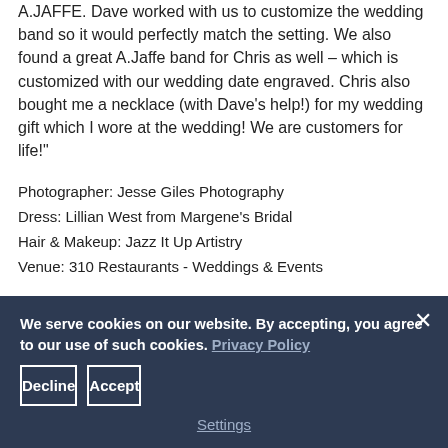A.JAFFE. Dave worked with us to customize the wedding band so it would perfectly match the setting. We also found a great A.Jaffe band for Chris as well – which is customized with our wedding date engraved. Chris also bought me a necklace (with Dave's help!) for my wedding gift which I wore at the wedding! We are customers for life!"
Photographer: Jesse Giles Photography
Dress: Lillian West from Margene's Bridal
Hair & Makeup: Jazz It Up Artistry
Venue: 310 Restaurants - Weddings & Events
We serve cookies on our website. By accepting, you agree to our use of such cookies. Privacy Policy